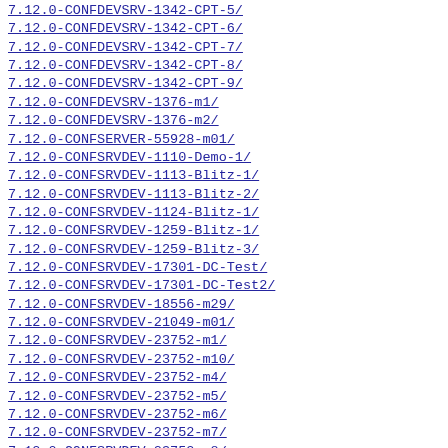7.12.0-CONFDEVSRV-1342-CPT-5/
7.12.0-CONFDEVSRV-1342-CPT-6/
7.12.0-CONFDEVSRV-1342-CPT-7/
7.12.0-CONFDEVSRV-1342-CPT-8/
7.12.0-CONFDEVSRV-1342-CPT-9/
7.12.0-CONFDEVSRV-1376-m1/
7.12.0-CONFDEVSRV-1376-m2/
7.12.0-CONFSERVER-55928-m01/
7.12.0-CONFSRVDEV-1110-Demo-1/
7.12.0-CONFSRVDEV-1113-Blitz-1/
7.12.0-CONFSRVDEV-1113-Blitz-2/
7.12.0-CONFSRVDEV-1124-Blitz-1/
7.12.0-CONFSRVDEV-1259-Blitz-1/
7.12.0-CONFSRVDEV-1259-Blitz-3/
7.12.0-CONFSRVDEV-17301-DC-Test/
7.12.0-CONFSRVDEV-17301-DC-Test2/
7.12.0-CONFSRVDEV-18556-m29/
7.12.0-CONFSRVDEV-21049-m01/
7.12.0-CONFSRVDEV-23752-m1/
7.12.0-CONFSRVDEV-23752-m10/
7.12.0-CONFSRVDEV-23752-m4/
7.12.0-CONFSRVDEV-23752-m5/
7.12.0-CONFSRVDEV-23752-m6/
7.12.0-CONFSRVDEV-23752-m7/
7.12.0-CONFSRVDEV-23752-m8/
7.12.0-CONFSRVDEV-23752-m9/
7.12.0-DCKUBE-103-m01/
7.12.0-DCKUBE-103-m02/
7.12.0-hazelcast-port-m1/